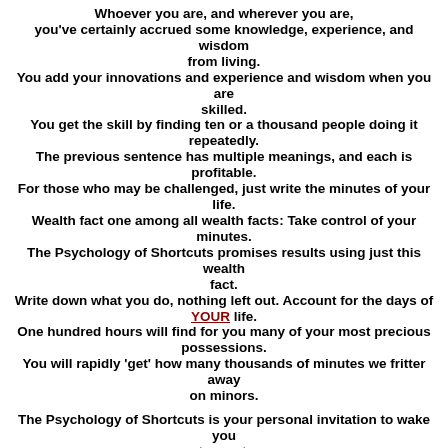Whoever you are, and wherever you are, you've certainly accrued some knowledge, experience, and wisdom from living. You add your innovations and experience and wisdom when you are skilled. You get the skill by finding ten or a thousand people doing it repeatedly. The previous sentence has multiple meanings, and each is profitable. For those who may be challenged, just write the minutes of your life. Wealth fact one among all wealth facts: Take control of your minutes. The Psychology of Shortcuts promises results using just this wealth fact. Write down what you do, nothing left out. Account for the days of YOUR life. One hundred hours will find for you many of your most precious possessions. You will rapidly 'get' how many thousands of minutes we fritter away on minors.
The Psychology of Shortcuts is your personal invitation to wake you up to mastery. MisterShortcut invested, 280,000,000-plus precious possessions, into your mastery.
It is founded on the belief, now proven, that every human can develop their best skills. Since financial wealth is still high on your horizon, gather and act upon the wealth facts. Get excited about your minutes so you rapidly find your minutes getting excited about you.